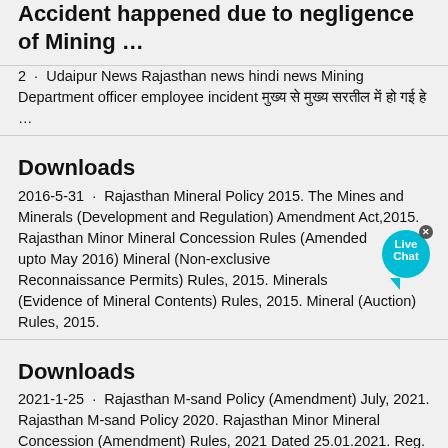Accident happened due to negligence of Mining …
2 · Udaipur News Rajasthan news hindi news Mining Department officer employee incident [Hindi text] …
Downloads
2016-5-31 · Rajasthan Mineral Policy 2015. The Mines and Minerals (Development and Regulation) Amendment Act,2015. Rajasthan Minor Mineral Concession Rules (Amended upto May 2016) Mineral (Non-exclusive Reconnaissance Permits) Rules, 2015. Minerals (Evidence of Mineral Contents) Rules, 2015. Mineral (Auction) Rules, 2015.
Downloads
2021-1-25 · Rajasthan M-sand Policy (Amendment) July, 2021. Rajasthan M-sand Policy 2020. Rajasthan Minor Mineral Concession (Amendment) Rules, 2021 Dated 25.01.2021. Reg. DMF Notification (Amendment) July, 2020.
How Sand Mining Snowballed Into a Mafia Business in